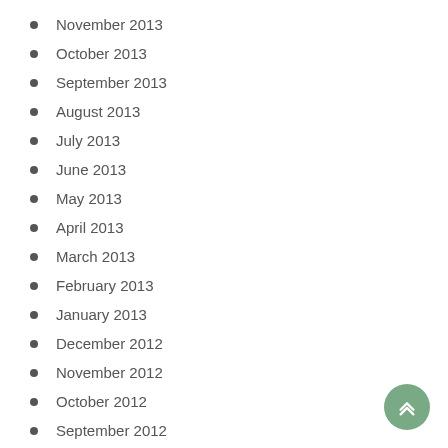November 2013
October 2013
September 2013
August 2013
July 2013
June 2013
May 2013
April 2013
March 2013
February 2013
January 2013
December 2012
November 2012
October 2012
September 2012
August 2012
July 2012